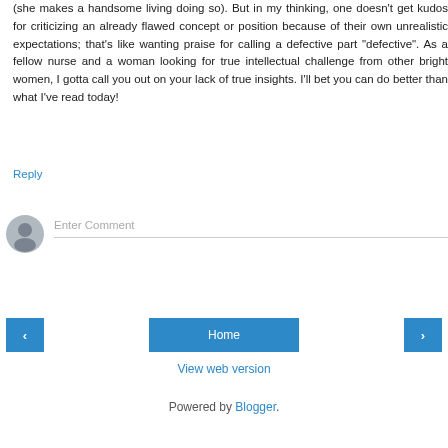(she makes a handsome living doing so). But in my thinking, one doesn't get kudos for criticizing an already flawed concept or position because of their own unrealistic expectations; that's like wanting praise for calling a defective part "defective". As a fellow nurse and a woman looking for true intellectual challenge from other bright women, I gotta call you out on your lack of true insights. I'll bet you can do better than what I've read today!
Reply
Enter Comment
Home
View web version
Powered by Blogger.